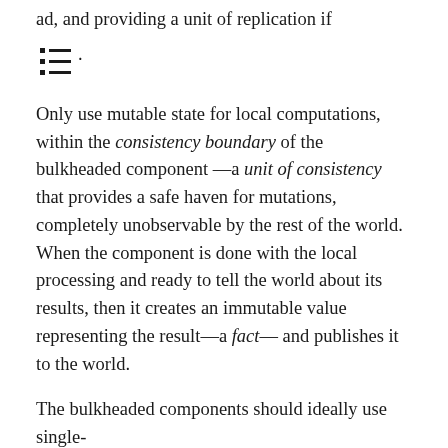ad, and providing a unit of replication if
.
Only use mutable state for local computations, within the consistency boundary of the bulkheaded component—a unit of consistency that provides a safe haven for mutations, completely unobservable by the rest of the world. When the component is done with the local processing and ready to tell the world about its results, then it creates an immutable value representing the result—a fact— and publishes it to the world.
The bulkheaded components should ideally use single-threaded execution to simplify the programming model and avoid concurrency-related problems such as deadlocks, race conditions, and corrupt data. For example, Node.js, Akka, Disruptor, or implementations of the Reactor / Retlama architecture